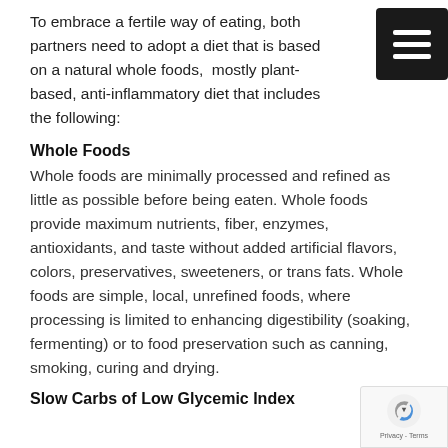To embrace a fertile way of eating, both partners need to adopt a diet that is based on a natural whole foods,  mostly plant-based, anti-inflammatory diet that includes the following:
Whole Foods
Whole foods are minimally processed and refined as little as possible before being eaten. Whole foods provide maximum nutrients, fiber, enzymes, antioxidants, and taste without added artificial flavors, colors, preservatives, sweeteners, or trans fats. Whole foods are simple, local, unrefined foods, where processing is limited to enhancing digestibility (soaking, fermenting) or to food preservation such as canning, smoking, curing and drying.
Slow Carbs of Low Glycemic Index